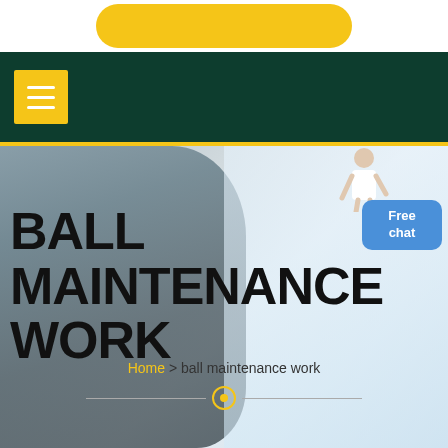[Figure (screenshot): Top white strip with yellow rounded button]
Navigation bar with dark green background and yellow hamburger menu button
BALL MAINTENANCE WORK
Home > ball maintenance work
[Figure (screenshot): Free chat button (blue rounded rectangle) with person graphic in top right of hero]